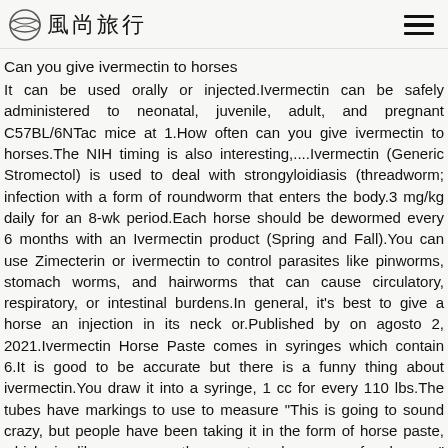風尚旅行
Can you give ivermectin to horses
It can be used orally or injected.Ivermectin can be safely administered to neonatal, juvenile, adult, and pregnant C57BL/6NTac mice at 1.How often can you give ivermectin to horses.The NIH timing is also interesting,....Ivermectin (Generic Stromectol) is used to deal with strongyloidiasis (threadworm; infection with a form of roundworm that enters the body.3 mg/kg daily for an 8-wk period.Each horse should be dewormed every 6 months with an Ivermectin product (Spring and Fall).You can use Zimecterin or ivermectin to control parasites like pinworms, stomach worms, and hairworms that can cause circulatory, respiratory, or intestinal burdens.In general, it's best to give a horse an injection in its neck or.Published by on agosto 2, 2021.Ivermectin Horse Paste comes in syringes which contain 6.It is good to be accurate but there is a funny thing about ivermectin.You draw it into a syringe, 1 cc for every 110 lbs.The tubes have markings to use to measure "This is going to sound crazy, but people have been taking it in the form of horse paste, which is like an over the counter de-wormer for horses," Alexandra Bibby, ivermectin user said.Further studies should be conducted to assess safety in other strains of mice, including those known to be highly susceptible to ivermectin toxicity..Can you give ivomec cattle wormer to horses.Ivermectin is a larvicidal ( will kill parasite larvae), and if used every